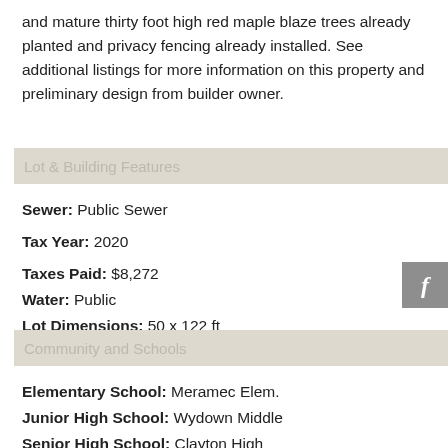and mature thirty foot high red maple blaze trees already planted and privacy fencing already installed. See additional listings for more information on this property and preliminary design from builder owner.
Lot & Building Features
Sewer: Public Sewer
Tax Year: 2020
Taxes Paid: $8,272
Water: Public
Lot Dimensions: 50 x 122 ft
Community and Schools
Elementary School: Meramec Elem.
Junior High School: Wydown Middle
Senior High School: Clayton High